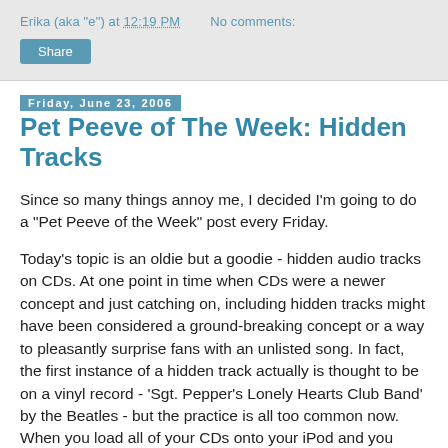Erika (aka "e") at 12:19 PM   No comments:
Share
Friday, June 23, 2006
Pet Peeve of The Week: Hidden Tracks
Since so many things annoy me, I decided I'm going to do a "Pet Peeve of the Week" post every Friday.
Today's topic is an oldie but a goodie - hidden audio tracks on CDs. At one point in time when CDs were a newer concept and just catching on, including hidden tracks might have been considered a ground-breaking concept or a way to pleasantly surprise fans with an unlisted song. In fact, the first instance of a hidden track actually is thought to be on a vinyl record - 'Sgt. Pepper's Lonely Hearts Club Band' by the Beatles - but the practice is all too common now. When you load all of your CDs onto your iPod and you wonder why it doesn't hold nearly the number of songs it claims to in the